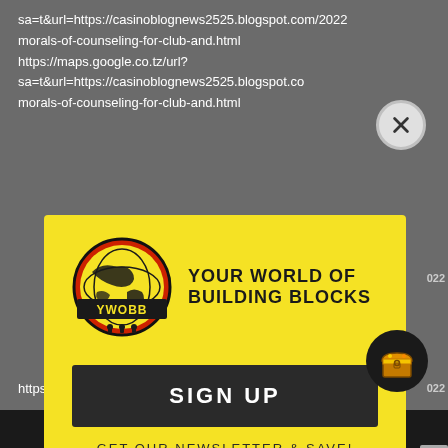sa=t&url=https://casinoblognews2525.blogspot.com/2022 morals-of-counseling-for-club-and.html https://maps.google.co.tz/url? sa=t&url=https://casinoblognews2525.blogspot.com/2022 morals-of-counseling-for-club-and.html
[Figure (logo): YWOBB logo - globe with yellow and black coloring, text YOUR WORLD OF BUILDING BLOCKS]
SIGN UP
GET OUR NEWSLETTER & SAVE!
ENTER YOUR EMAIL
SUBSCRIBE
https://maps.google.co.jp/url?
SHOW SIDEBAR +